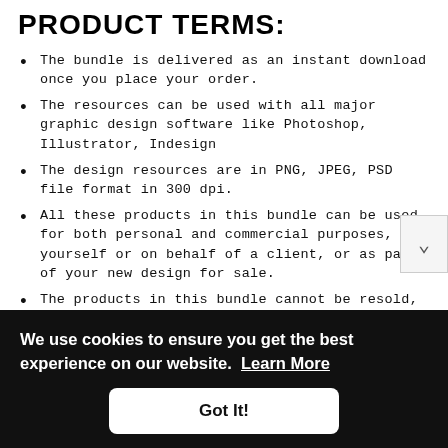PRODUCT TERMS:
The bundle is delivered as an instant download once you place your order.
The resources can be used with all major graphic design software like Photoshop, Illustrator, Indesign
The design resources are in PNG, JPEG, PSD file format in 300 dpi.
All these products in this bundle can be used for both personal and commercial purposes, for yourself or on behalf of a client, or as part of your new design for sale.
The products in this bundle cannot be resold, shared,
We use cookies to ensure you get the best experience on our website. Learn More
Got It!